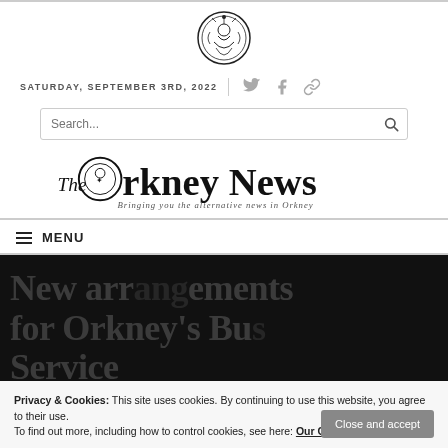SATURDAY, SEPTEMBER 3RD, 2022
[Figure (logo): Ornate circular crest logo for The Orkney News]
[Figure (logo): The Orkney News masthead logo with text 'Bringing you the alternative news in Orkney']
MENU
New arrangements for Orkney's Bus Service
Privacy & Cookies: This site uses cookies. By continuing to use this website, you agree to their use. To find out more, including how to control cookies, see here: Our Cookie Policy